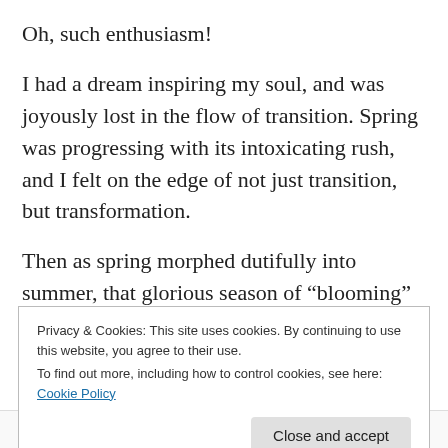Oh, such enthusiasm!
I had a dream inspiring my soul, and was joyously lost in the flow of transition. Spring was progressing with its intoxicating rush, and I felt on the edge of not just transition, but transformation.
Then as spring morphed dutifully into summer, that glorious season of “blooming” that followed turned out to be a season of chaos. The Waldo Canyon Wildfire happened here in Colorado Springs, and all my grand
Privacy & Cookies: This site uses cookies. By continuing to use this website, you agree to their use.
To find out more, including how to control cookies, see here: Cookie Policy
Close and accept
Follow